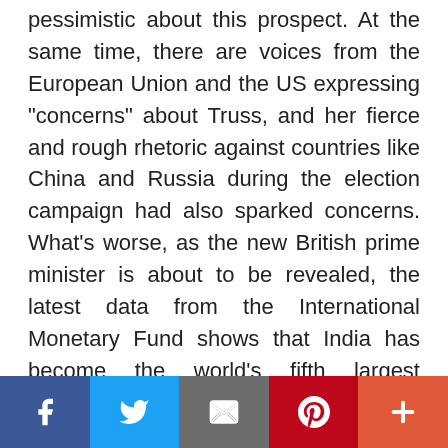pessimistic about this prospect. At the same time, there are voices from the European Union and the US expressing "concerns" about Truss, and her fierce and rough rhetoric against countries like China and Russia during the election campaign had also sparked concerns. What's worse, as the new British prime minister is about to be revealed, the latest data from the International Monetary Fund shows that India has become the world's fifth largest economy, surpassing the UK in the last three months of 2021. The UK's economy grew slowly in the first two quarters of 2022, while the Indian economy is expected to achieve a more than 7 percent growth this year. The gap between the
[Social share buttons: Facebook, Twitter, Email, Pinterest, More]